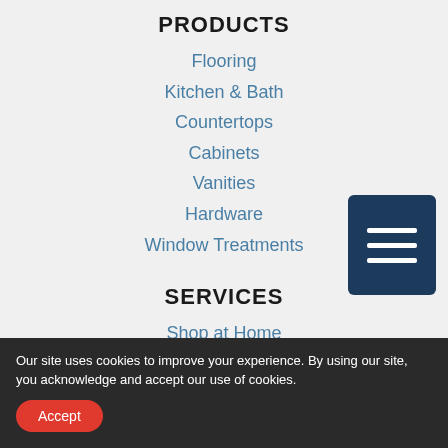PRODUCTS
Flooring
Kitchen & Bath
Countertops
Cabinets
Vanities
Hardware
Window Treatments
[Figure (other): Hamburger menu icon button — dark navy blue square with three white horizontal lines]
SERVICES
Shop at Home
Our site uses cookies to improve your experience. By using our site, you acknowledge and accept our use of cookies.
Accept